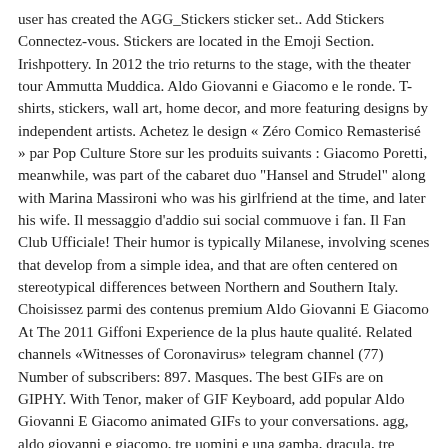user has created the AGG_Stickers sticker set.. Add Stickers Connectez-vous. Stickers are located in the Emoji Section. Irishpottery. In 2012 the trio returns to the stage, with the theater tour Ammutta Muddica. Aldo Giovanni e Giacomo e le ronde. T-shirts, stickers, wall art, home decor, and more featuring designs by independent artists. Achetez le design « Zéro Comico Remasterisé » par Pop Culture Store sur les produits suivants : Giacomo Poretti, meanwhile, was part of the cabaret duo "Hansel and Strudel" along with Marina Massironi who was his girlfriend at the time, and later his wife. Il messaggio d'addio sui social commuove i fan. Il Fan Club Ufficiale! Their humor is typically Milanese, involving scenes that develop from a simple idea, and that are often centered on stereotypical differences between Northern and Southern Italy. Choisissez parmi des contenus premium Aldo Giovanni E Giacomo At The 2011 Giffoni Experience de la plus haute qualité. Related channels «Witnesses of Coronavirus» telegram channel (77) Number of subscribers: 897. Masques. The best GIFs are on GIPHY. With Tenor, maker of GIF Keyboard, add popular Aldo Giovanni E Giacomo animated GIFs to your conversations. agg, aldo giovanni e giacomo, tre uomini e una gamba, dracula, tre uomini e una gamba, film, italia, italiani, commedia, aldo, giovanni, giacomo, aldo giovanni e